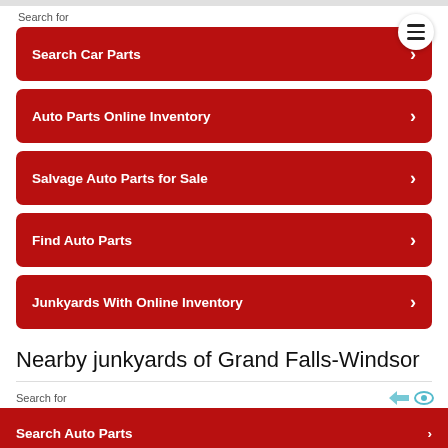Search for
Search Car Parts
Auto Parts Online Inventory
Salvage Auto Parts for Sale
Find Auto Parts
Junkyards With Online Inventory
Nearby junkyards of Grand Falls-Windsor
Search for
Search Auto Parts
Search Car Parts